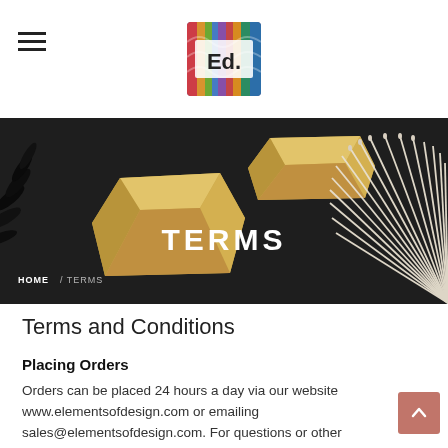Ed. (Elements of Design logo)
[Figure (photo): Dark background hero banner with gold geometric decorative bowls on left/center and white bamboo fan sticks on right, with black decorative leaves on the far left]
TERMS
HOME / TERMS
Terms and Conditions
Placing Orders
Orders can be placed 24 hours a day via our website www.elementsofdesign.com or emailing sales@elementsofdesign.com. For questions or other